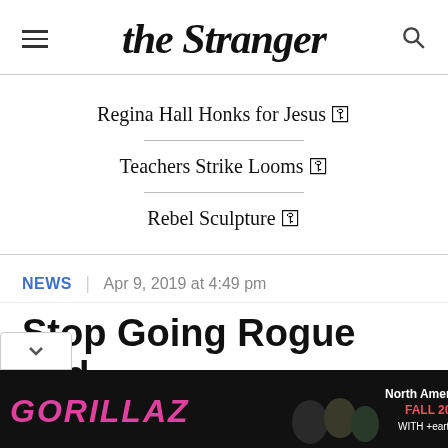the Stranger
Regina Hall Honks for Jesus 🔗
Teachers Strike Looms 🔗
Rebel Sculpture 🔗
NEWS  |  Apr 9, 2019 at 4:49 pm
Stop Going Rogue and
[Figure (illustration): Gorillaz North America Tour Fall 2022 with +earthgang+ advertisement banner]